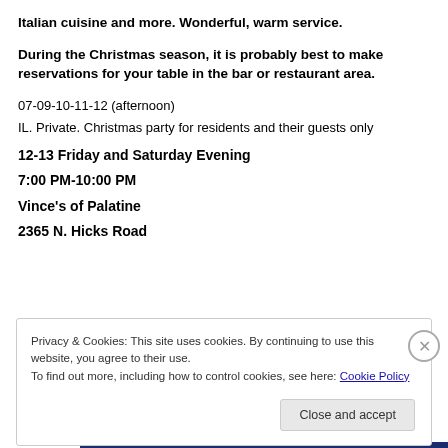Italian cuisine and more. Wonderful, warm service. During the Christmas season, it is probably best to make reservations for your table in the bar or restaurant area.
07-09-10-11-12 (afternoon)
IL. Private. Christmas party for residents and their guests only
12-13 Friday and Saturday Evening
7:00 PM-10:00 PM
Vince's of Palatine
2365 N. Hicks Road
Privacy & Cookies: This site uses cookies. By continuing to use this website, you agree to their use. To find out more, including how to control cookies, see here: Cookie Policy